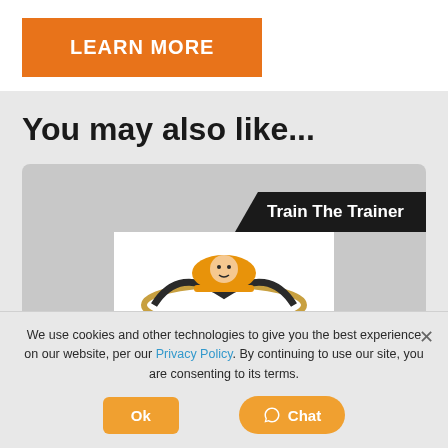[Figure (other): Orange 'LEARN MORE' button]
You may also like...
[Figure (screenshot): Train The Trainer course card with logo on grey background]
We use cookies and other technologies to give you the best experience on our website, per our Privacy Policy. By continuing to use our site, you are consenting to its terms.